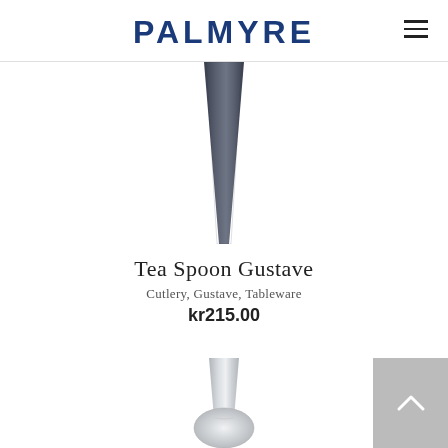PALMYRE
[Figure (photo): Close-up photo of a dark grey/anthracite cutlery handle (tea spoon Gustave), tapered shape, on white background]
Tea Spoon Gustave
Cutlery, Gustave, Tableware
kr215.00
[Figure (photo): Partial photo of a silver/stainless steel spoon handle from below, on white background]